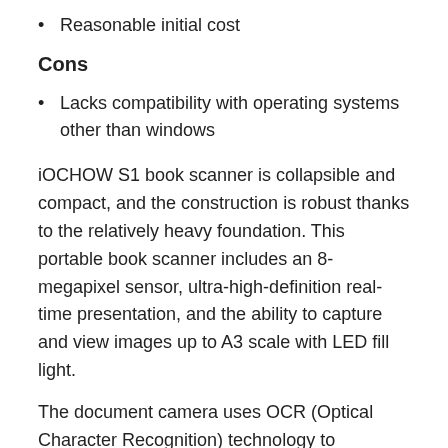Reasonable initial cost
Cons
Lacks compatibility with operating systems other than windows
iOCHOW S1 book scanner is collapsible and compact, and the construction is robust thanks to the relatively heavy foundation. This portable book scanner includes an 8-megapixel sensor, ultra-high-definition real-time presentation, and the ability to capture and view images up to A3 scale with LED fill light.
The document camera uses OCR (Optical Character Recognition) technology to accurately transform scanned JPG images into editable Word